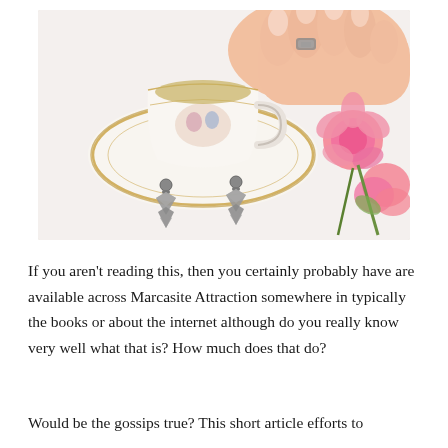[Figure (photo): Overhead photo of a woman's hand wearing a decorative ring, holding an ornate porcelain tea cup on a saucer. Two marcasite drop earrings are laid flat on a white surface alongside pink carnation flowers.]
If you aren't reading this, then you certainly probably have are available across Marcasite Attraction somewhere in typically the books or about the internet although do you really know very well what that is? How much does that do?
Would be the gossips true? This short article efforts to answer the pertinent questions it for the complete tribute it...